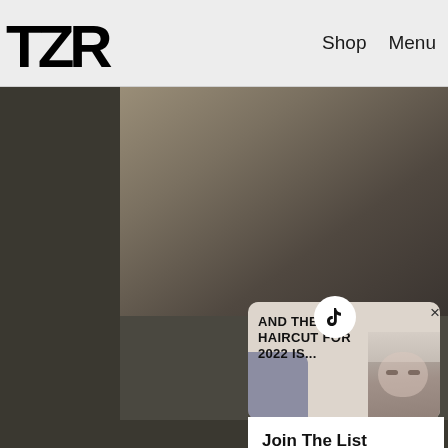TZR  Shop  Menu
[Figure (photo): Background photo of sneaker shoes, dark toned, with shoe sole detail visible on left and laced sneaker in center-right]
[Figure (screenshot): TikTok thumbnail showing article preview card with text 'AND THE #1 HAIRCUT FOR 2022 IS...' and a woman's face on the right, with TikTok icon badge]
Join The List
Sign up for TZR's exclusive email list to uncover this season's top trends
Email address    Subscribe
244